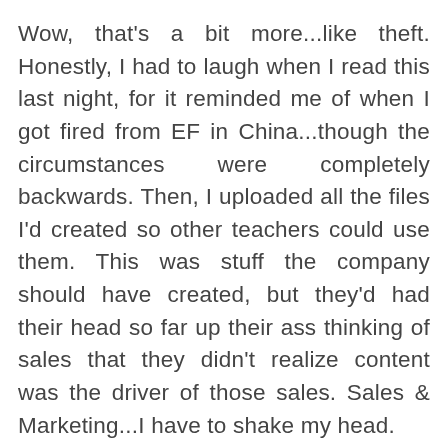Wow, that's a bit more...like theft. Honestly, I had to laugh when I read this last night, for it reminded me of when I got fired from EF in China...though the circumstances were completely backwards. Then, I uploaded all the files I'd created so other teachers could use them. This was stuff the company should have created, but they'd had their head so far up their ass thinking of sales that they didn't realize content was the driver of those sales. Sales & Marketing...I have to shake my head.